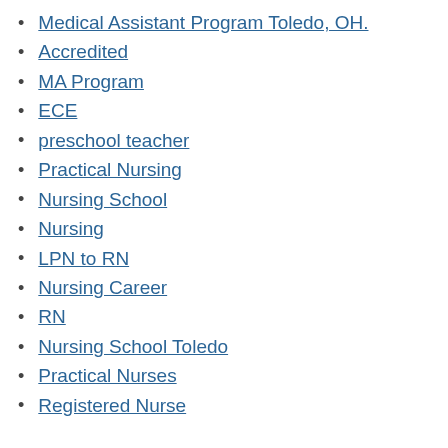Medical Assistant Program Toledo, OH.
Accredited
MA Program
ECE
preschool teacher
Practical Nursing
Nursing School
Nursing
LPN to RN
Nursing Career
RN
Nursing School Toledo
Practical Nurses
Registered Nurse